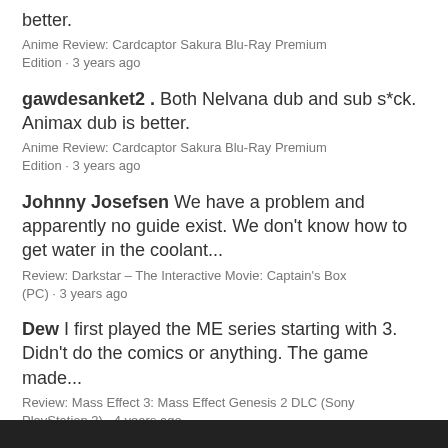better.
Anime Review: Cardcaptor Sakura Blu-Ray Premium Edition · 3 years ago
gawdesanket2 . Both Nelvana dub and sub s*ck. Animax dub is better.
Anime Review: Cardcaptor Sakura Blu-Ray Premium Edition · 3 years ago
Johnny Josefsen We have a problem and apparently no guide exist. We don't know how to get water in the coolant...
Review: Darkstar – The Interactive Movie: Captain's Box (PC) · 3 years ago
Dew I first played the ME series starting with 3. Didn't do the comics or anything. The game made...
Review: Mass Effect 3: Mass Effect Genesis 2 DLC (Sony PlayStation 3) · 4 years ago
» more comments